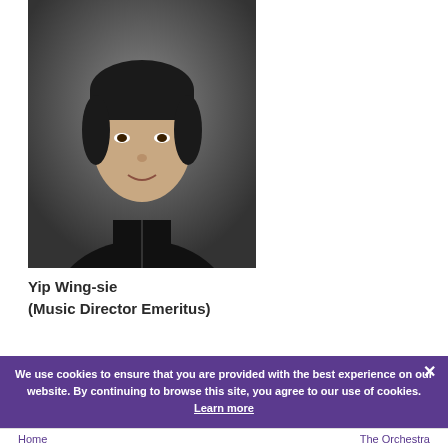[Figure (photo): Professional headshot of Yip Wing-sie, a woman in a black outfit against a grey background]
Yip Wing-sie
(Music Director Emeritus)
BOOKING DETAILS ∧
We use cookies to ensure that you are provided with the best experience on our website. By continuing to browse this site, you agree to our use of cookies. Learn more
Home    The Orchestra